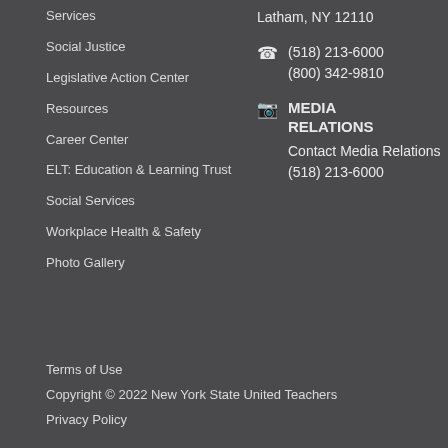Services
Social Justice
Legislative Action Center
Resources
Career Center
ELT: Education & Learning Trust
Social Services
Workplace Health & Safety
Photo Gallery
Latham, NY 12110
(518) 213-6000
(800) 342-9810
MEDIA RELATIONS
Contact Media Relations
(518) 213-6000
Terms of Use
Copyright © 2022 New York State United Teachers
Privacy Policy